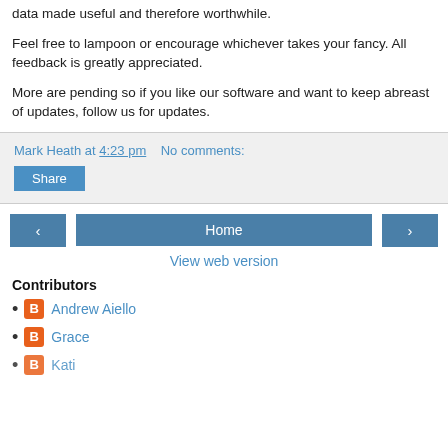data made useful and therefore worthwhile.
Feel free to lampoon or encourage whichever takes your fancy. All feedback is greatly appreciated.
More are pending so if you like our software and want to keep abreast of updates, follow us for updates.
Mark Heath at 4:23 pm   No comments:
Share
Home
View web version
Contributors
Andrew Aiello
Grace
Kati...